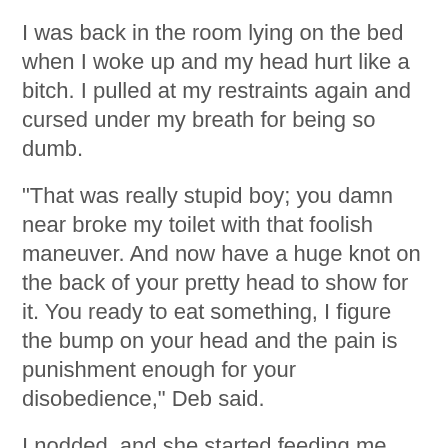I was back in the room lying on the bed when I woke up and my head hurt like a bitch. I pulled at my restraints again and cursed under my breath for being so dumb.
"That was really stupid boy; you damn near broke my toilet with that foolish maneuver. And now have a huge knot on the back of your pretty head to show for it. You ready to eat something, I figure the bump on your head and the pain is punishment enough for your disobedience," Deb said.
I nodded, and she started feeding me eggs, bacon, toast and orange juice. I at hungrily and it helped my head ache by the time I finished.
"Now I suppose you're going to want me to cum again right?" I asked sarcastically.
"In a while yes boy, that is why you are here you know," she replied.
She took away the tray of food and when I heard her